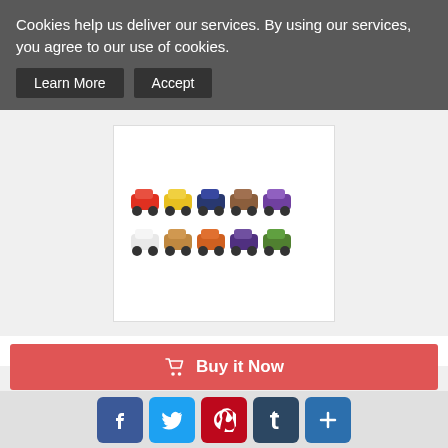Cookies help us deliver our services. By using our services, you agree to our use of cookies.
Learn More  Accept
[Figure (photo): Disney Pixar Cars mini toy car figures arranged in two rows on a white background]
Disney Pixar Cars Mini Racers 10 Pac...
$27.99
Buy it Now
New
11 Day(s) 14 h(s)
Worldwide
5 days
Easy Returns
Buy it Now
f  (Twitter bird)  (Pinterest P)  t  +